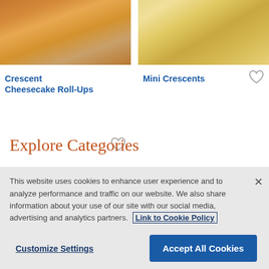[Figure (photo): Photo of Crescent Cheesecake Roll-Ups - fried/baked rolled pastries on a wooden board]
Crescent Cheesecake Roll-Ups
[Figure (photo): Photo of Mini Crescents - small golden crescent rolls in a pile]
Mini Crescents
Explore Categories
Crescent Side Dish Recipes
This website uses cookies to enhance user experience and to analyze performance and traffic on our website. We also share information about your use of our site with our social media, advertising and analytics partners. Link to Cookie Policy
Customize Settings
Accept All Cookies